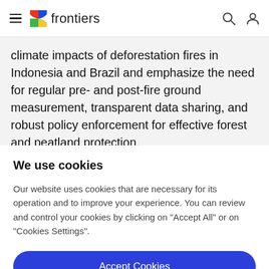frontiers
climate impacts of deforestation fires in Indonesia and Brazil and emphasize the need for regular pre- and post-fire ground measurement, transparent data sharing, and robust policy enforcement for effective forest and peatland protection.
We use cookies
Our website uses cookies that are necessary for its operation and to improve your experience. You can review and control your cookies by clicking on "Accept All" or on "Cookies Settings".
Accept Cookies
Cookies Settings